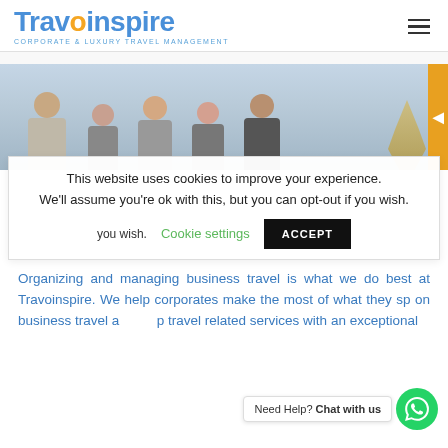[Figure (logo): Travoinspire logo with text 'CORPORATE & LUXURY TRAVEL MANAGEMENT']
[Figure (photo): Group of five business professionals posing together in a modern office setting]
This website uses cookies to improve your experience. We'll assume you're ok with this, but you can opt-out if you wish.
Cookie settings
ACCEPT
Organizing and managing business travel is what we do best at Travoinspire. We help corporates make the most of what they sp on business travel a p travel related services with an exceptional
Need Help? Chat with us